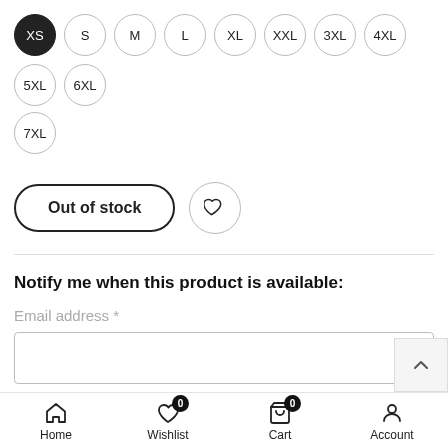Size buttons: XS (selected), S, M, L, XL, XXL, 3XL, 4XL, 5XL, 6XL, 7XL
Out of stock
Notify me when this product is available:
Email address *
Email me when available
Delivery in India between Friday, August 26th and
Home  Wishlist 0  Cart 0  Account